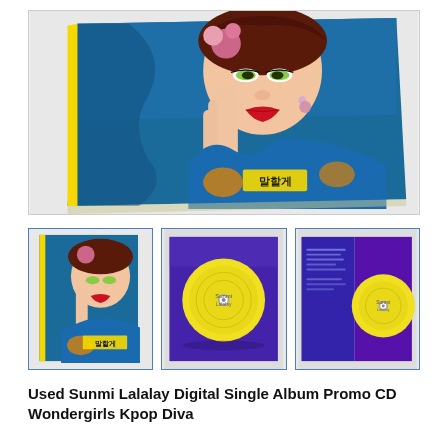[Figure (photo): Main large product photo of Sunmi Lalalay album cover — a K-pop album cover book with a glamorous woman in blue floral outfit with red lips and striking makeup, yellow spine visible]
[Figure (photo): Thumbnail 1: Front cover of album showing the same K-pop star in blue floral dress]
[Figure (photo): Thumbnail 2: Open album showing yellow CD disc on purple/blue background]
[Figure (photo): Thumbnail 3: Open album booklet showing lyrics page and yellow CD disc on purple background]
Used Sunmi Lalalay Digital Single Album Promo CD Wondergirls Kpop Diva